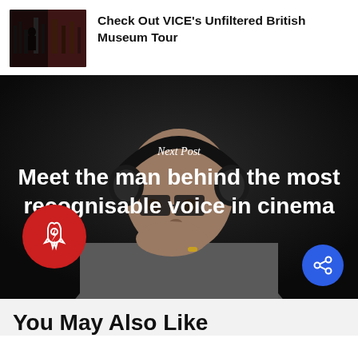[Figure (screenshot): Thumbnail image for VICE British Museum Tour article - dark reddish tones showing museum scene]
Check Out VICE's Unfiltered British Museum Tour
[Figure (photo): Dark background photo of a bald man wearing large headphones and glasses, hand raised to mouth, wearing a grey suit with a gold ring]
Next Post
Meet the man behind the most recognisable voice in cinema
You May Also Like